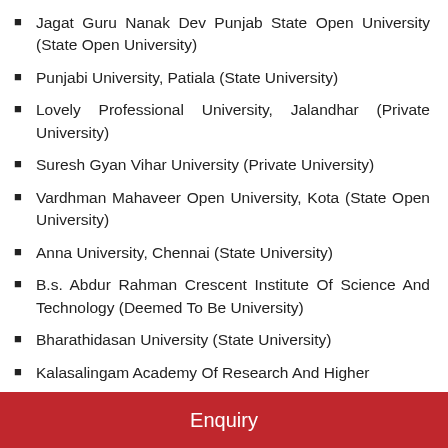Jagat Guru Nanak Dev Punjab State Open University (State Open University)
Punjabi University, Patiala (State University)
Lovely Professional University, Jalandhar (Private University)
Suresh Gyan Vihar University (Private University)
Vardhman Mahaveer Open University, Kota (State Open University)
Anna University, Chennai (State University)
B.s. Abdur Rahman Crescent Institute Of Science And Technology (Deemed To Be University)
Bharathidasan University (State University)
Kalasalingam Academy Of Research And Higher
Enquiry